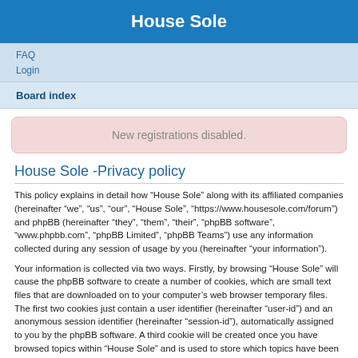House Sole
FAQ
Login
Board index
New registrations disabled.
House Sole -Privacy policy
This policy explains in detail how “House Sole” along with its affiliated companies (hereinafter “we”, “us”, “our”, “House Sole”, “https://www.housesole.com/forum”) and phpBB (hereinafter “they”, “them”, “their”, “phpBB software”, “www.phpbb.com”, “phpBB Limited”, “phpBB Teams”) use any information collected during any session of usage by you (hereinafter “your information”).
Your information is collected via two ways. Firstly, by browsing “House Sole” will cause the phpBB software to create a number of cookies, which are small text files that are downloaded on to your computer’s web browser temporary files. The first two cookies just contain a user identifier (hereinafter “user-id”) and an anonymous session identifier (hereinafter “session-id”), automatically assigned to you by the phpBB software. A third cookie will be created once you have browsed topics within “House Sole” and is used to store which topics have been